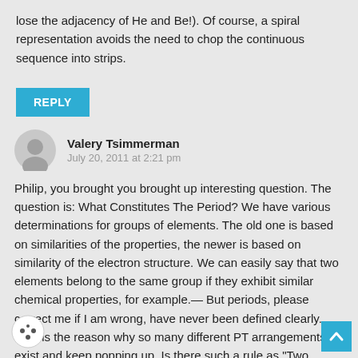lose the adjacency of He and Be!). Of course, a spiral representation avoids the need to chop the continuous sequence into strips.
REPLY
Valery Tsimmerman
July 20, 2011 at 2:21 pm
Philip, you brought you brought up interesting question. The question is: What Constitutes The Period? We have various determinations for groups of elements. The old one is based on similarities of the properties, the newer is based on similarity of the electron structure. We can easily say that two elements belong to the same group if they exhibit similar chemical properties, for example.— But periods, please correct me if I am wrong, have never been defined clearly. That is the reason why so many different PT arrangements exist and keep popping up. Is there such a rule as "Two elements belong to the same period if